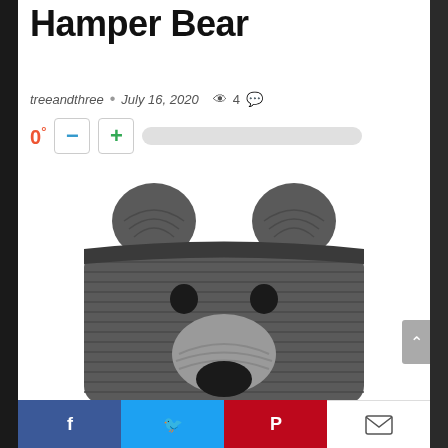Hamper Bear
treeandthree · July 16, 2020  👁 4  💬
0°  −  +  [vote bar]
[Figure (photo): Gray woven rope storage basket shaped like a bear face, with round ears, dot eyes, and a lighter gray muzzle/mouth area.]
Share buttons: Facebook, Twitter, Pinterest, Email